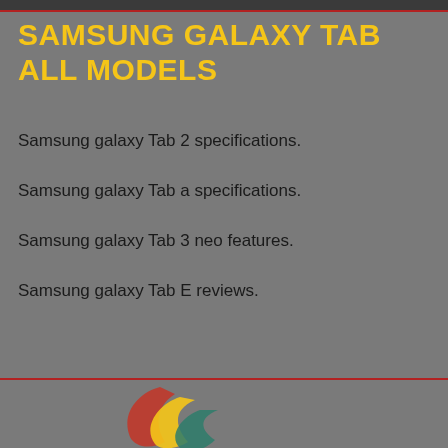SAMSUNG GALAXY TAB ALL MODELS
Samsung galaxy Tab 2 specifications.
Samsung galaxy Tab a specifications.
Samsung galaxy Tab 3 neo features.
Samsung galaxy Tab E reviews.
[Figure (logo): Decorative logo with curved swoosh shapes in red, yellow, and teal/green colors]